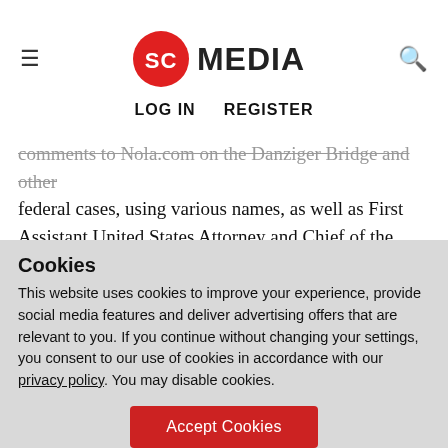SC MEDIA | LOG IN  REGISTER
comments to Nola.com on the Danziger Bridge and other federal cases, using various names, as well as First Assistant United States Attorney and Chief of the Office's Criminal Division Jan Mann, who also posted on the site under a moniker, “eweman.” After a new trial was ordered, the government appealed, but the 5th Circuit, in a 2 to 1 decision, upheld the district court’s
Cookies
This website uses cookies to improve your experience, provide social media features and deliver advertising offers that are relevant to you. If you continue without changing your settings, you consent to our use of cookies in accordance with our privacy policy. You may disable cookies.